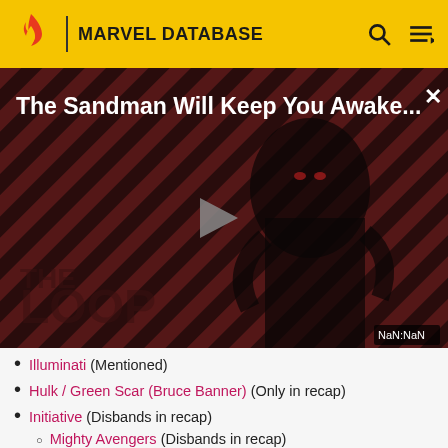MARVEL DATABASE
[Figure (screenshot): Video player showing 'The Sandman Will Keep You Awake...' with a figure in black against a red diagonal striped background, THE LOOP branding, play button, and NaN:NaN time display]
Illuminati (Mentioned)
Hulk / Green Scar (Bruce Banner) (Only in recap)
Initiative (Disbands in recap)
Mighty Avengers (Disbands in recap)
Ms. Marvel / Captain Marvel (Carol Danvers)
(leaves team in recap)